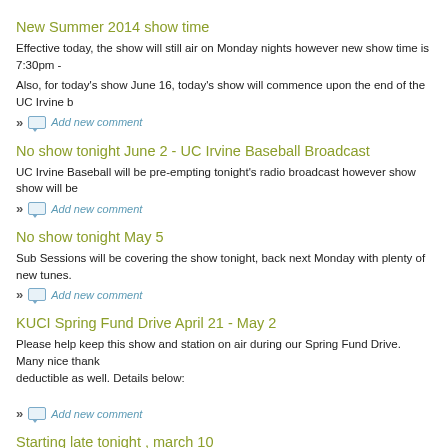New Summer 2014 show time
Effective today, the show will still air on Monday nights however new show time is 7:30pm -
Also, for today's show June 16, today's show will commence upon the end of the UC Irvine b
» Add new comment
No show tonight June 2 - UC Irvine Baseball Broadcast
UC Irvine Baseball will be pre-empting tonight's radio broadcast however show show will be
» Add new comment
No show tonight May 5
Sub Sessions will be covering the show tonight, back next Monday with plenty of new tunes.
» Add new comment
KUCI Spring Fund Drive April 21 - May 2
Please help keep this show and station on air during our Spring Fund Drive. Many nice thank deductible as well. Details below:
» Add new comment
Starting late tonight , march 10